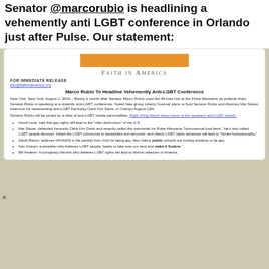Senator @marcorubio is headlining a vehemently anti LGBT conference in Orlando just after Pulse. Our statement:
[Figure (screenshot): A press release from Faith in America with an orange banner, logo, and text about Marco Rubio headlining an anti-LGBT conference, including bullet points about speakers' anti-LGBT beliefs.]
x